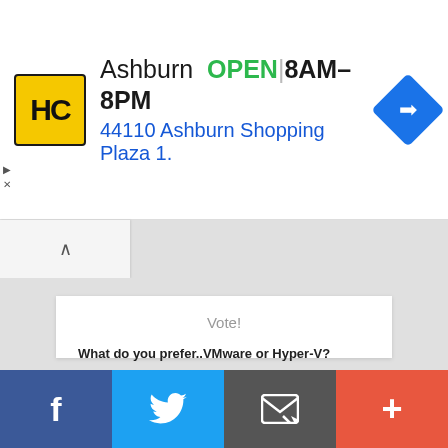[Figure (screenshot): Advertisement banner for HC (Hardware store) in Ashburn showing logo, OPEN status, hours 8AM-8PM, address 44110 Ashburn Shopping Plaza 1., and navigation icon]
Vote!
What do you prefer..VMware or Hyper-V?
VMware
Hyper-V
Vote
View Results
f  (twitter)  (email)  +